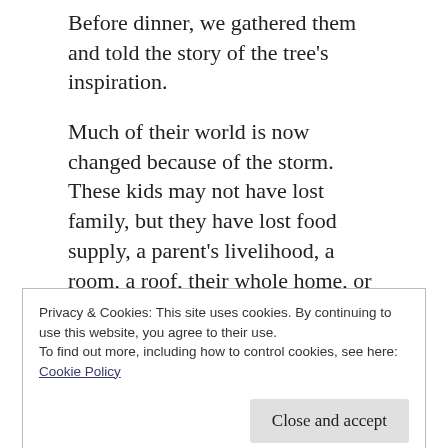Before dinner, we gathered them and told the story of the tree's inspiration.
Much of their world is now changed because of the storm. These kids may not have lost family, but they have lost food supply, a parent's livelihood, a room, a roof, their whole home, or electrical power. We drew their attention to our own tree in the room.
Nothing more was missing! Their own hands
Privacy & Cookies: This site uses cookies. By continuing to use this website, you agree to their use.
To find out more, including how to control cookies, see here: Cookie Policy
[Figure (photo): Partial photo strip visible at the bottom of the page showing people in a group setting]